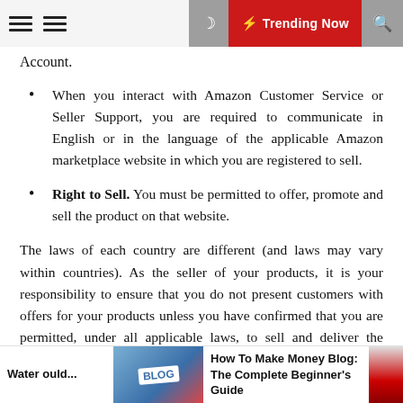Trending Now
Account.
When you interact with Amazon Customer Service or Seller Support, you are required to communicate in English or in the language of the applicable Amazon marketplace website in which you are registered to sell.
Right to Sell. You must be permitted to offer, promote and sell the product on that website.
The laws of each country are different (and laws may vary within countries). As the seller of your products, it is your responsibility to ensure that you do not present customers with offers for your products unless you have confirmed that you are permitted, under all applicable laws, to sell and deliver the product to all potential customers.
Water ould... | How To Make Money Blog: The Complete Beginner's Guide